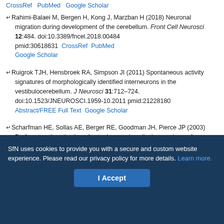CrossRef  PubMed  Google Scholar (top partial links)
Rahimi-Balaei M, Bergen H, Kong J, Marzban H (2018) Neuronal migration during development of the cerebellum. Front Cell Neurosci 12:484. doi:10.3389/fncel.2018.00484 pmid:30618631  CrossRef  PubMed  Google Scholar
Ruigrok TJH, Hensbroek RA, Simpson JI (2011) Spontaneous activity signatures of morphologically identified interneurons in the vestibulocerebellum. J Neurosci 31:712–724. doi:10.1523/JNEUROSCI.1959-10.2011 pmid:21228180  Abstract/FREE Full Text  Google Scholar
Scharfman HE, Sollas AE, Berger RE, Goodman JH, Pierce JP (2003) Perforant path activation of ectopic granule cells that are born after pilocarpine-induced seizures. Neuroscience 121:1017–1029. doi:10.1016/s0306-4522(03)00481-0 pmid:14580952  CrossRef  PubMed  Google Scholar
SfN uses cookies to provide you with a secure and custom website experience. Please read our privacy policy for more details. Learn more.